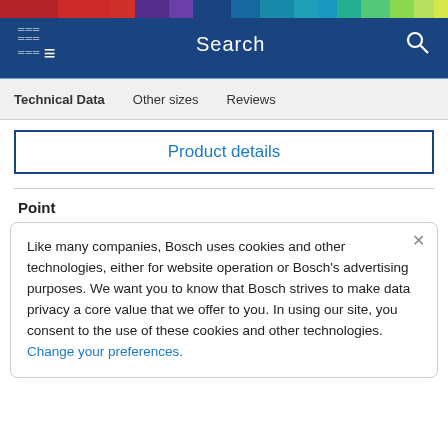Technical Data | Other sizes | Reviews
Product details
Point
Like many companies, Bosch uses cookies and other technologies, either for website operation or Bosch's advertising purposes. We want you to know that Bosch strives to make data privacy a core value that we offer to you. In using our site, you consent to the use of these cookies and other technologies. Change your preferences.